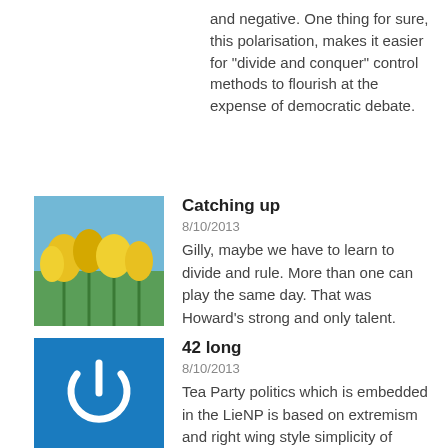and negative. One thing for sure, this polarisation, makes it easier for "divide and conquer" control methods to flourish at the expense of democratic debate.
[Figure (photo): Yellow tulips against a blue sky background, used as a user avatar thumbnail]
Catching up
8/10/2013
Gilly, maybe we have to learn to divide and rule. More than one can play the same day. That was Howard's strong and only talent.
[Figure (logo): Blue square avatar with white power button icon]
42 long
8/10/2013
Tea Party politics which is embedded in the LieNP is based on extremism and right wing style simplicity of purpose. There are no greys. you deal in absolutes and talk over the thinkers like the IPA do. The other tactic is to shoot the messenger rather than address the point made. All this is divisive and bad news for